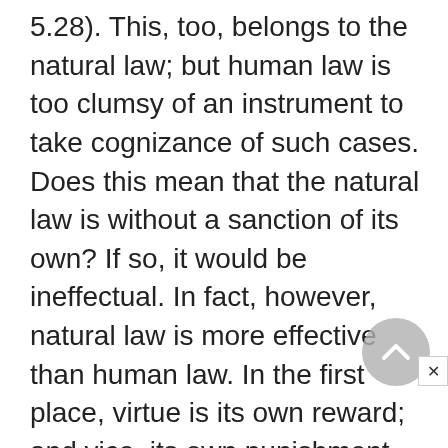5.28). This, too, belongs to the natural law; but human law is too clumsy of an instrument to take cognizance of such cases. Does this mean that the natural law is without a sanction of its own? If so, it would be ineffectual. In fact, however, natural law is more effective than human law. In the first place, virtue is its own reward; and vice, its own punishment. One simply cannot be virtuous without being happy, nor can one sin without being miserable.